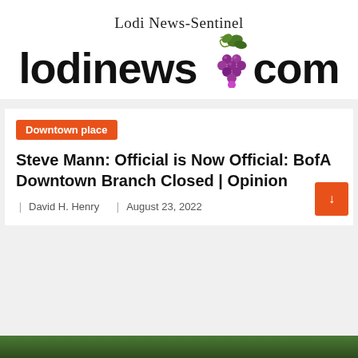[Figure (logo): Lodi News-Sentinel lodinews.com logo with grape cluster illustration]
Downtown place
Steve Mann: Official is Now Official: BofA Downtown Branch Closed | Opinion
David H. Henry   August 23, 2022
[Figure (photo): Bottom strip showing green foliage/trees]